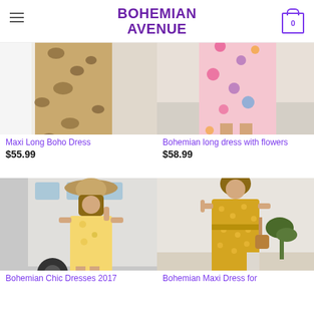BOHEMIAN AVENUE
[Figure (photo): Maxi long boho dress in leopard/brown print, lower half visible]
Maxi Long Boho Dress
$55.99
[Figure (photo): Bohemian long dress with flowers, colorful floral print, lower half visible]
Bohemian long dress with flowers
$58.99
[Figure (photo): Woman in yellow floral wrap dress with wide-brim hat, next to a trailer]
Bohemian Chic Dresses 2017
[Figure (photo): Woman in mustard yellow polka dot wrap maxi dress]
Bohemian Maxi Dress for